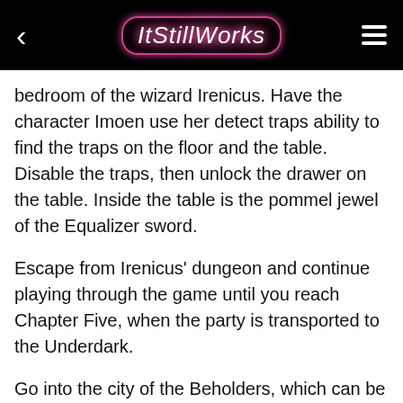ItStillWorks
bedroom of the wizard Irenicus. Have the character Imoen use her detect traps ability to find the traps on the floor and the table. Disable the traps, then unlock the drawer on the table. Inside the table is the pommel jewel of the Equalizer sword.
Escape from Irenicus' dungeon and continue playing through the game until you reach Chapter Five, when the party is transported to the Underdark.
Go into the city of the Beholders, which can be found by entering the tunnel at the bottom right